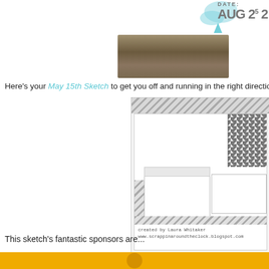[Figure (photo): Top portion showing cropped scrapbook layout with date stamp reading AUG 2 5 2, teal watercolor splash, and photo strip of wood/nature texture]
Here's your May 15th Sketch to get you off and running in the right direction
[Figure (illustration): Scrapbooking sketch layout template showing striped borders, two photo boxes, title bar with 'title' text, arrow embellishment, flower embellishment, houndstooth pattern, and credit text: created by Laura Whitaker www.scrappinaroundtheclock.blogspot.com]
This sketch's fantastic sponsors are...
[Figure (other): Gold/yellow banner at bottom of page]